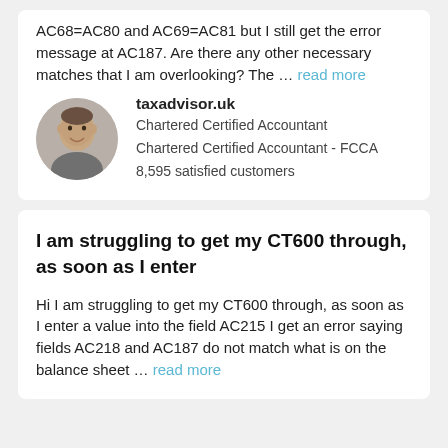AC68=AC80 and AC69=AC81 but I still get the error message at AC187. Are there any other necessary matches that I am overlooking? The … read more
taxadvisor.uk
Chartered Certified Accountant
Chartered Certified Accountant - FCCA
8,595 satisfied customers
I am struggling to get my CT600 through, as soon as I enter
Hi I am struggling to get my CT600 through, as soon as I enter a value into the field AC215 I get an error saying fields AC218 and AC187 do not match what is on the balance sheet … read more